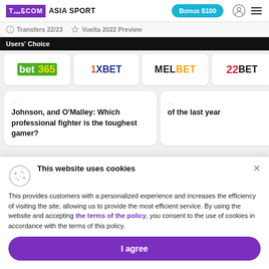TELECOM ASIA SPORT | Bonus $100
Transfers 22/23
Vuelta 2022 Preview
Users' Choice
[Figure (logo): bet365 logo]
[Figure (logo): 1XBET logo]
[Figure (logo): MELBET logo]
[Figure (logo): 22BET logo]
Johnson, and O'Malley: Which professional fighter is the toughest gamer?
of the last year
This website uses cookies
This provides customers with a personalized experience and increases the efficiency of visiting the site, allowing us to provide the most efficient service. By using the website and accepting the terms of the policy, you consent to the use of cookies in accordance with the terms of this policy.
I agree